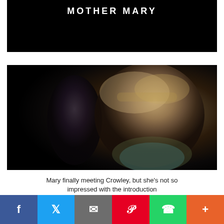[Figure (screenshot): Black title card with white bold text reading MOTHER MARY]
[Figure (photo): Dark scene showing a woman with curly blonde hair and bangs looking alarmed, wearing a teal shirt and green jacket, with a shadowy figure behind her in the darkness]
Mary finally meeting Crowley, but she's not so impressed with the introduction
Social share bar with Facebook, Twitter, Email, Pinterest, WhatsApp, and More buttons